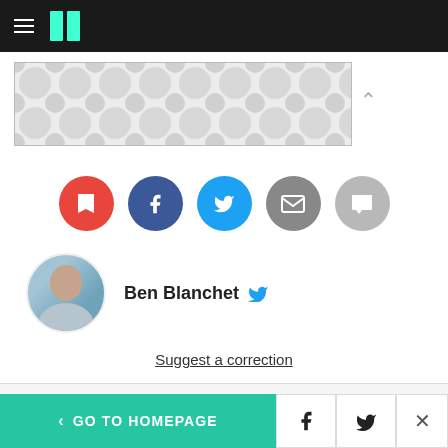HuffPost navigation bar with hamburger menu and logo
[Figure (other): Advertisement banner with dot/circle pattern background in gray tones]
[Figure (infographic): Social share icons: bookmark (red), Facebook (dark blue), Twitter (light blue), email (gray), comment (light gray)]
Ben Blanchet (with Twitter bird icon)
Suggest a correction
REPUBLICANS
LIZ CHENEY
< GO TO HOMEPAGE  [Facebook icon]  [Twitter icon]  X